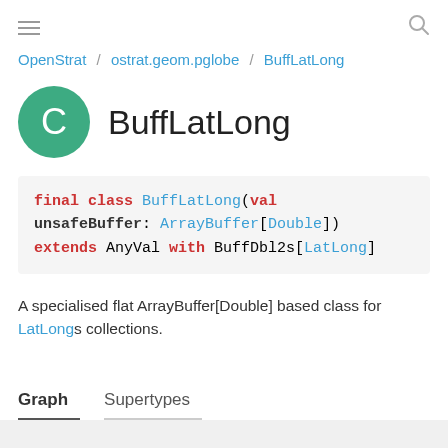OpenStrat / ostrat.geom.pglobe / BuffLatLong
BuffLatLong
A specialised flat ArrayBuffer[Double] based class for LatLongs collections.
Graph  Supertypes